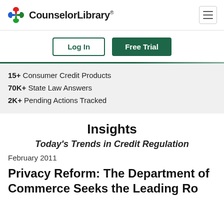CounselorLibrary®
Log In | Free Trial
15+ Consumer Credit Products
70K+ State Law Answers
2K+ Pending Actions Tracked
Insights
Today's Trends in Credit Regulation
February 2011
Privacy Reform: The Department of Commerce Seeks the Leading Role in Chief Consumer framework